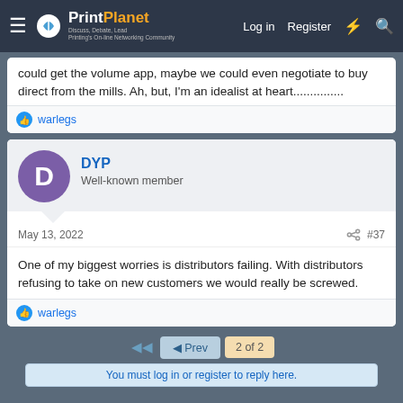PrintPlanet — Discuss, Debate, Lead — Printing's On-line Networking Community | Log in | Register
could get the volume app, maybe we could even negotiate to buy direct from the mills. Ah, but, I'm an idealist at heart...............
warlegs
DYP
Well-known member
May 13, 2022
#37
One of my biggest worries is distributors failing. With distributors refusing to take on new customers we would really be screwed.
warlegs
◄ Prev
2 of 2
You must log in or register to reply here.